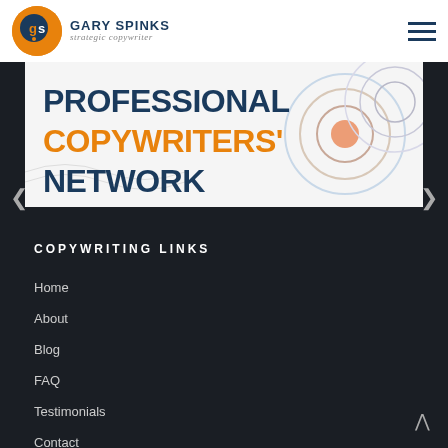GARY SPINKS strategic copywriter
[Figure (logo): Gary Spinks strategic copywriter logo with orange circle containing 'gs' initials and company name text]
[Figure (screenshot): Professional Copywriters' Network banner image with blue and orange text on white background with decorative circles]
COPYWRITING LINKS
Home
About
Blog
FAQ
Testimonials
Contact